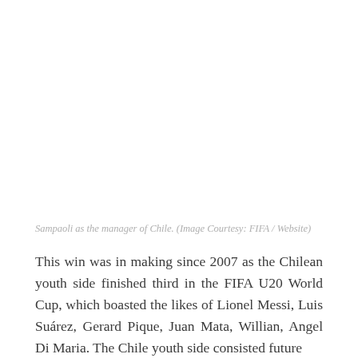[Figure (photo): Sampaoli as the manager of Chile (image area, blank/white in this crop)]
Sampaoli as the manager of Chile. (Image Courtesy: FIFA / Website)
This win was in making since 2007 as the Chilean youth side finished third in the FIFA U20 World Cup, which boasted the likes of Lionel Messi, Luis Suárez, Gerard Pique, Juan Mata, Willian, Angel Di Maria. The Chile youth side consisted future